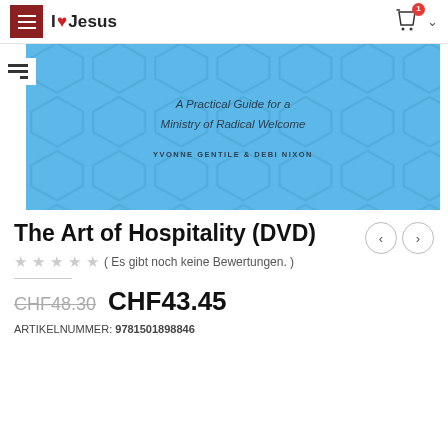I♥Jesus
[Figure (illustration): Book cover for 'The Art of Hospitality' — blue background with hexagon pattern, subtitle 'A Practical Guide for a Ministry of Radical Welcome', authors: YVONNE GENTILE & DEBI NIXON]
The Art of Hospitality (DVD)
★★★★★ ( Es gibt noch keine Bewertungen. )
CHF48.30  CHF43.45
ARTIKELNUMMER: 9781501898846